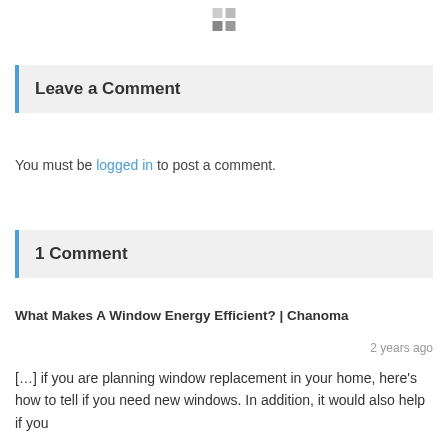[Figure (other): Small 2x2 grid icon in gray tones at top center of page]
Leave a Comment
You must be logged in to post a comment.
1 Comment
What Makes A Window Energy Efficient? | Chanoma
2 years ago
[…] if you are planning window replacement in your home, here's how to tell if you need new windows. In addition, it would also help if you